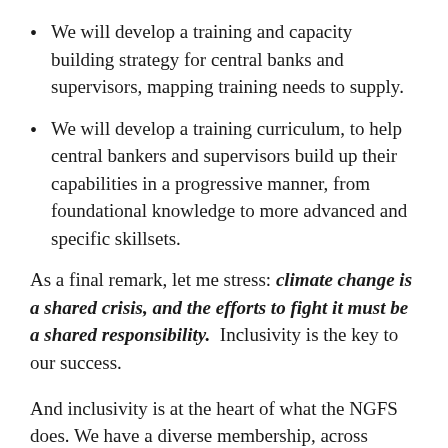We will develop a training and capacity building strategy for central banks and supervisors, mapping training needs to supply.
We will develop a training curriculum, to help central bankers and supervisors build up their capabilities in a progressive manner, from foundational knowledge to more advanced and specific skillsets.
As a final remark, let me stress: climate change is a shared crisis, and the efforts to fight it must be a shared responsibility. Inclusivity is the key to our success.
And inclusivity is at the heart of what the NGFS does. We have a diverse membership, across geographies, across stages of economic development, and across a